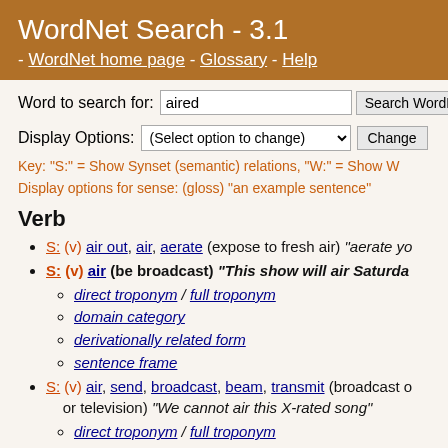WordNet Search - 3.1 - WordNet home page - Glossary - Help
Word to search for: aired [Search WordNet]
Display Options: (Select option to change) [Change]
Key: "S:" = Show Synset (semantic) relations, "W:" = Show W
Display options for sense: (gloss) "an example sentence"
Verb
S: (v) air out, air, aerate (expose to fresh air) "aerate yo
S: (v) air (be broadcast) "This show will air Saturda"
direct troponym / full troponym
domain category
derivationally related form
sentence frame
S: (v) air, send, broadcast, beam, transmit (broadcast o or television) "We cannot air this X-rated song"
direct troponym / full troponym
domain category